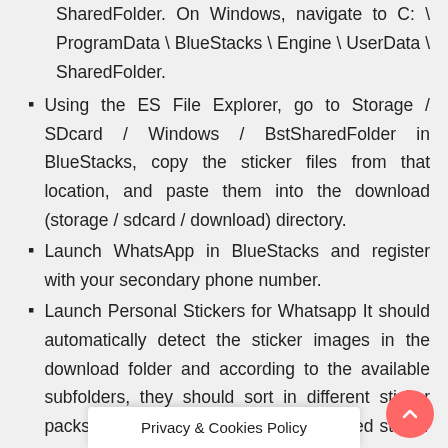SharedFolder. On Windows, navigate to C: \ ProgramData \ BlueStacks \ Engine \ UserData \ SharedFolder.
Using the ES File Explorer, go to Storage / SDcard / Windows / BstSharedFolder in BlueStacks, copy the sticker files from that location, and paste them into the download (storage / sdcard / download) directory.
Launch WhatsApp in BlueStacks and register with your secondary phone number.
Launch Personal Stickers for Whatsapp It should automatically detect the sticker images in the download folder and according to the available subfolders, they should sort in different sticker packs. If you want to create a customized sticker pack, use the sticker pack option available fro… e top-r…
Privacy & Cookies Policy